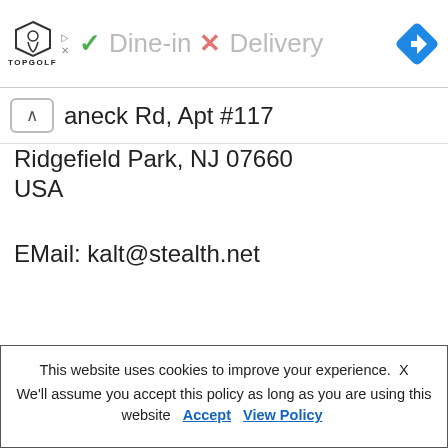[Figure (logo): Topgolf logo with shield icon and text TOPGOLF, alongside ad play/close icons, dine-in checkmark and delivery X marks, and a blue navigation diamond icon]
aneck Rd, Apt #117
Ridgefield Park, NJ 07660
USA
EMail: kalt@stealth.net
This website uses cookies to improve your experience.  X
We'll assume you accept this policy as long as you are using this website  Accept  View Policy